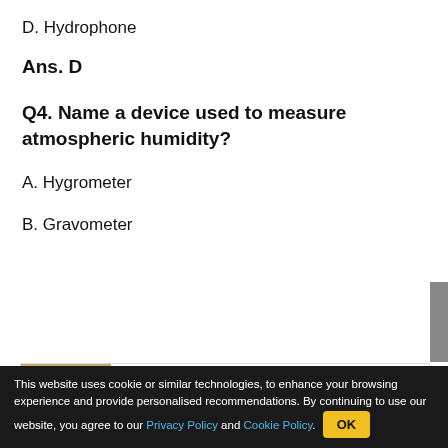D. Hydrophone
Ans. D
Q4. Name a device used to measure atmospheric humidity?
A. Hygrometer
B. Gravometer
[Figure (photo): Advertisement with food image showing eggs: Recommend: This Diabetes Treatment Will Surprise You (Watch) - Healthier Living]
This website uses cookie or similar technologies, to enhance your browsing experience and provide personalised recommendations. By continuing to use our website, you agree to our Privacy Policy and Cookie Policy.